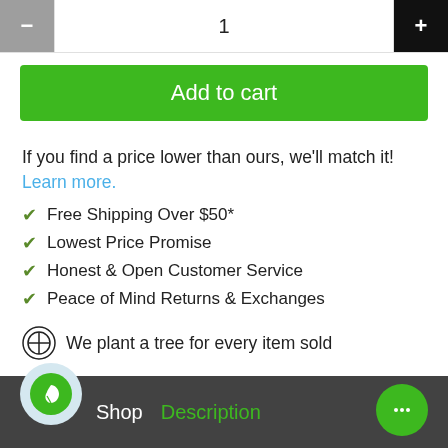[Figure (screenshot): Quantity selector with minus button (grey), quantity field showing '1', and plus button (black)]
[Figure (screenshot): Green 'Add to cart' button]
If you find a price lower than ours, we'll match it! Learn more.
Free Shipping Over $50*
Lowest Price Promise
Honest & Open Customer Service
Peace of Mind Returns & Exchanges
We plant a tree for every item sold
Shop  Description